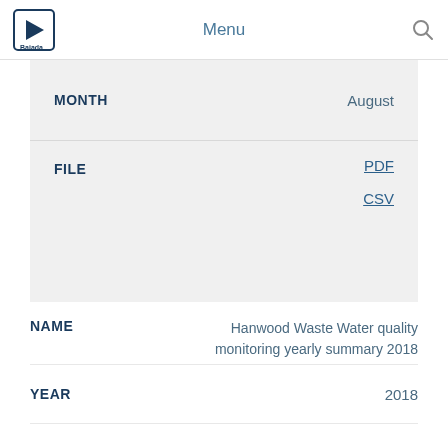Menu
| Field | Value |
| --- | --- |
| MONTH | August |
| FILE | PDF
CSV |
| Field | Value |
| --- | --- |
| NAME | Hanwood Waste Water quality monitoring yearly summary 2018 |
| YEAR | 2018 |
| MONTH | August |